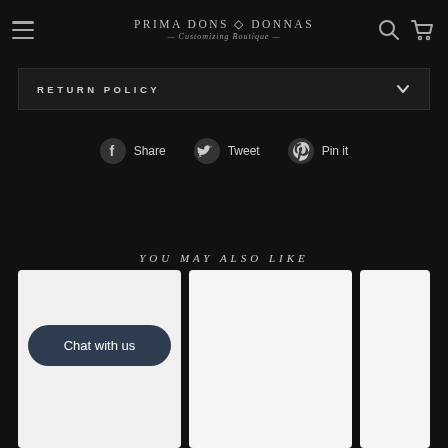Prima Dons & Donnas — Customizing Boutique
RETURN POLICY
Share   Tweet   Pin it
YOU MAY ALSO LIKE
[Figure (screenshot): Three product card thumbnails partially visible at bottom of page (white background cards). A 'Chat with us' button overlay is visible on the first card.]